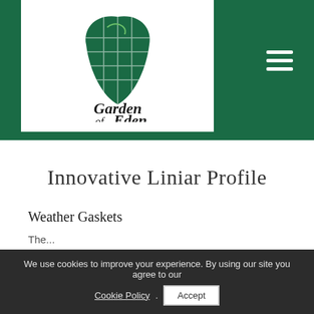[Figure (logo): Garden of Eden logo: stylized apple with leaf and lattice window design, with cursive text 'Garden of Eden']
Innovative Liniar Profile
Weather Gaskets
The content starting with 'The...' (partially visible)
We use cookies to improve your experience. By using our site you agree to our Cookie Policy. Accept